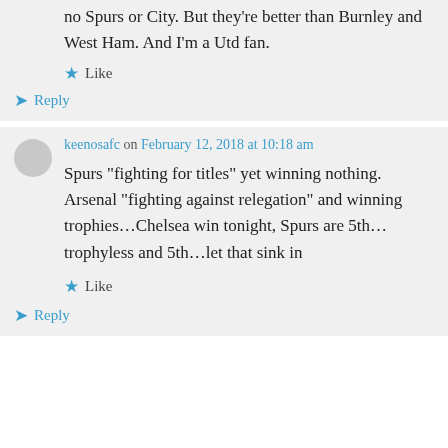no Spurs or City. But they're better than Burnley and West Ham. And I'm a Utd fan.
Like
Reply
keenosafc on February 12, 2018 at 10:18 am
Spurs “fighting for titles” yet winning nothing. Arsenal “fighting against relegation” and winning trophies…Chelsea win tonight, Spurs are 5th…trophyless and 5th…let that sink in
Like
Reply